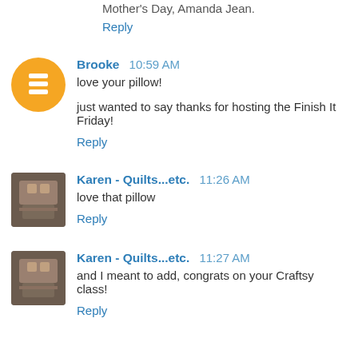Mother's Day, Amanda Jean.
Reply
Brooke  10:59 AM
love your pillow!
just wanted to say thanks for hosting the Finish It Friday!
Reply
Karen - Quilts...etc.  11:26 AM
love that pillow
Reply
Karen - Quilts...etc.  11:27 AM
and I meant to add, congrats on your Craftsy class!
Reply